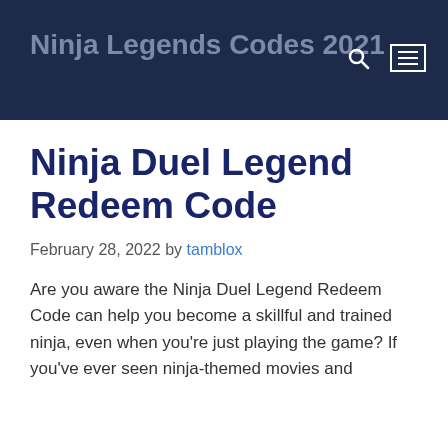Ninja Legends Codes 2021
Ninja Duel Legend Redeem Code
February 28, 2022 by tamblox
Are you aware the Ninja Duel Legend Redeem Code can help you become a skillful and trained ninja, even when you’re just playing the game? If you’ve ever seen ninja-themed movies and